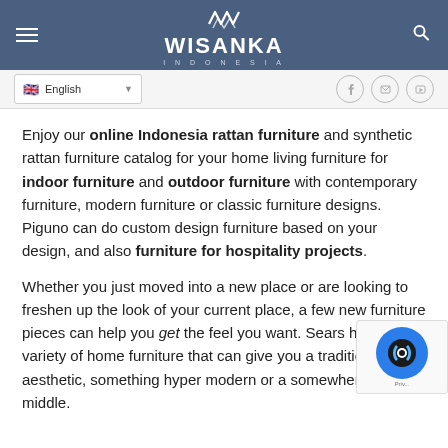[Figure (logo): Wisanka Indonesia logo with wave symbol on dark blue header bar with hamburger menu and search icon]
[Figure (screenshot): Navigation bar with English language selector (UK flag) and social media icons (Facebook, Email, YouTube)]
Enjoy our online Indonesia rattan furniture and synthetic rattan furniture catalog for your home living furniture for indoor furniture and outdoor furniture with contemporary furniture, modern furniture or classic furniture designs. Piguno can do custom design furniture based on your design, and also furniture for hospitality projects.
Whether you just moved into a new place or are looking to freshen up the look of your current place, a few new furniture pieces can help you get the feel you want. Sears has a variety of home furniture that can give you a traditional aesthetic, something hyper modern or a somewhere in the middle.